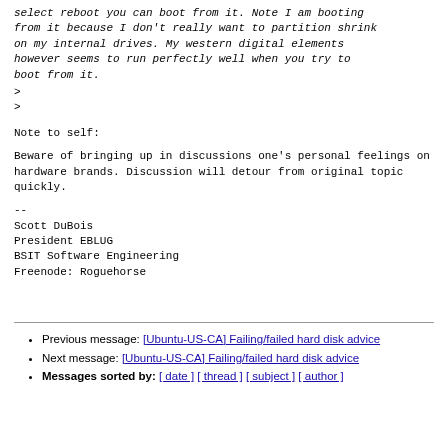select reboot you can boot from it. Note I am booting from it because I don't really want to partition shrink on my internal drives. My western digital elements however seems to run perfectly well when you try to boot from it.
>
>
Note to self:
Beware of bringing up in discussions one's personal feelings on hardware brands. Discussion will detour from original topic quickly.
--
Scott DuBois
President EBLUG
BSIT Software Engineering
Freenode: Roguehorse
Previous message: [Ubuntu-US-CA] Failing/failed hard disk advice
Next message: [Ubuntu-US-CA] Failing/failed hard disk advice
Messages sorted by: [ date ] [ thread ] [ subject ] [ author ]